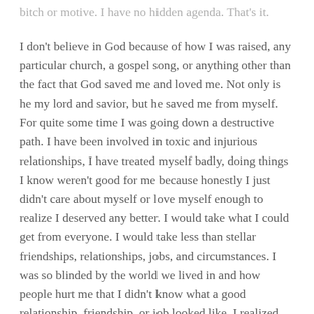bitch or motive. I have no hidden agenda. That's it.
I don't believe in God because of how I was raised, any particular church, a gospel song, or anything other than the fact that God saved me and loved me. Not only is he my lord and savior, but he saved me from myself. For quite some time I was going down a destructive path. I have been involved in toxic and injurious relationships, I have treated myself badly, doing things I know weren't good for me because honestly I just didn't care about myself or love myself enough to realize I deserved any better. I would take what I could get from everyone. I would take less than stellar friendships, relationships, jobs, and circumstances. I was so blinded by the world we lived in and how people hurt me that I didn't know what a good relationship, friendship, or job looked like. I realized slowly that I was doing a disservice to myself